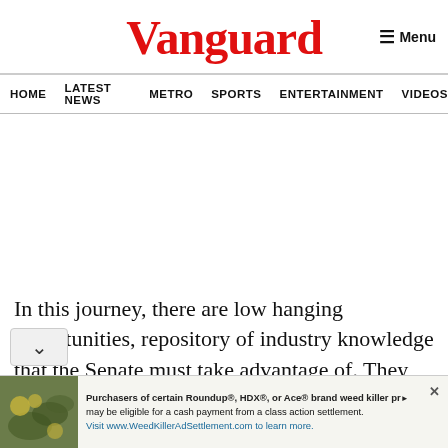Vanguard
HOME  LATEST NEWS  METRO  SPORTS  ENTERTAINMENT  VIDEOS
In this journey, there are low hanging opportunities, repository of industry knowledge that the Senate must take advantage of. They de but not limited to the Nigerian
Purchasers of certain Roundup®, HDX®, or Ace® brand weed killer products may be eligible for a cash payment from a class action settlement. Visit www.WeedKillerAdSettlement.com to learn more.